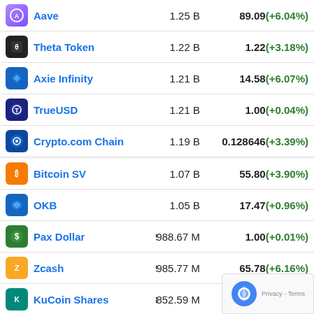| Coin | Market Cap | Price |
| --- | --- | --- |
| Aave | 1.25 B | 89.09(+6.04%) |
| Theta Token | 1.22 B | 1.22(+3.18%) |
| Axie Infinity | 1.21 B | 14.58(+6.07%) |
| TrueUSD | 1.21 B | 1.00(+0.04%) |
| Crypto.com Chain | 1.19 B | 0.128646(+3.39%) |
| Bitcoin SV | 1.07 B | 55.80(+3.90%) |
| OKB | 1.05 B | 17.47(+0.96%) |
| Pax Dollar | 988.67 M | 1.00(+0.01%) |
| Zcash | 985.77 M | 65.78(+6.16%) |
| KuCoin Shares | 852.59 M | 9.61(+1.38%) |
| Maker | 833.39 M | 852.46(+... |
| IOTA | 811.5 M | 0.291957(+... |